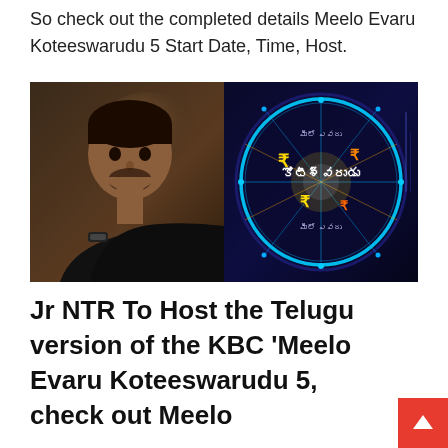So check out the completed details Meelo Evaru Koteeswarudu 5 Start Date, Time, Host.
[Figure (photo): Left half: Jr NTR, a young Indian man in a black shirt resting his chin on his hand, photographed in a studio with warm background lighting. Right half: The Meelo Evaru Koteeswarudu show logo — a dark blue background with a glowing blue/green elliptical wheel featuring Telugu script text and currency symbols.]
Jr NTR To Host the Telugu version of the KBC 'Meelo Evaru Koteeswarudu 5, check out Meelo